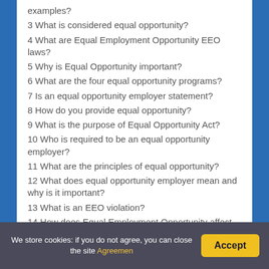examples?
3 What is considered equal opportunity?
4 What are Equal Employment Opportunity EEO laws?
5 Why is Equal Opportunity important?
6 What are the four equal opportunity programs?
7 Is an equal opportunity employer statement?
8 How do you provide equal opportunity?
9 What is the purpose of Equal Opportunity Act?
10 Who is required to be an equal opportunity employer?
11 What are the principles of equal opportunity?
12 What does equal opportunity employer mean and why is it important?
13 What is an EEO violation?
14 How does Equal Employment Opportunity affect
We store cookies: if you do not agree, you can close the site Agreemen